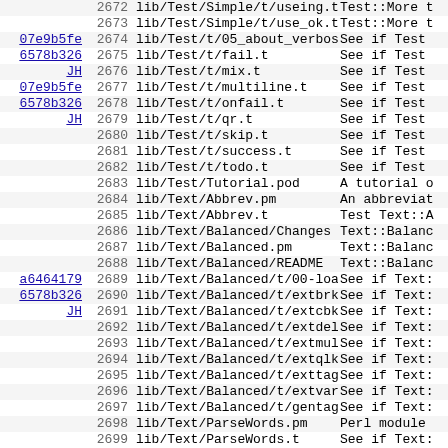| Hash | Line | Path | Description |
| --- | --- | --- | --- |
|  | 2672 | lib/Test/Simple/t/useing.t | Test::More t |
|  | 2673 | lib/Test/Simple/t/use_ok.t | Test::More t |
| 07e9b5fe | 2674 | lib/Test/t/05_about_verbose.t | See if Test |
| 6578b326 | 2675 | lib/Test/t/fail.t | See if Test |
| JH | 2676 | lib/Test/t/mix.t | See if Test |
| 07e9b5fe | 2677 | lib/Test/t/multiline.t | See if Test |
| 6578b326 | 2678 | lib/Test/t/onfail.t | See if Test |
| JH | 2679 | lib/Test/t/qr.t | See if Test |
|  | 2680 | lib/Test/t/skip.t | See if Test |
|  | 2681 | lib/Test/t/success.t | See if Test |
|  | 2682 | lib/Test/t/todo.t | See if Test |
|  | 2683 | lib/Test/Tutorial.pod | A tutorial o |
|  | 2684 | lib/Text/Abbrev.pm | An abbreviat |
|  | 2685 | lib/Text/Abbrev.t | Test Text::A |
|  | 2686 | lib/Text/Balanced/Changes | Text::Balanc |
|  | 2687 | lib/Text/Balanced.pm | Text::Balanc |
|  | 2688 | lib/Text/Balanced/README | Text::Balanc |
| a6464179 | 2689 | lib/Text/Balanced/t/00-load.t | See if Text: |
| 6578b326 | 2690 | lib/Text/Balanced/t/extbrk.t | See if Text: |
| JH | 2691 | lib/Text/Balanced/t/extcbk.t | See if Text: |
|  | 2692 | lib/Text/Balanced/t/extdel.t | See if Text: |
|  | 2693 | lib/Text/Balanced/t/extmul.t | See if Text: |
|  | 2694 | lib/Text/Balanced/t/extqlk.t | See if Text: |
|  | 2695 | lib/Text/Balanced/t/exttag.t | See if Text: |
|  | 2696 | lib/Text/Balanced/t/extvar.t | See if Text: |
|  | 2697 | lib/Text/Balanced/t/gentag.t | See if Text: |
|  | 2698 | lib/Text/ParseWords.pm | Perl module |
|  | 2699 | lib/Text/ParseWords.t | See if Text: |
| 6a724e38 | 2700 | lib/Text/ParseWords/taint.t | See if Text: |
| 6578b326 | 2701 | lib/Text/Tabs.pm | Do expand an |
| JH | 2702 | lib/Text/TabsWrap/CHANGELOG | ChangeLog fo |
| 95925ace | 2703 | lib/Text/TabsWrap/t/37000.t | See if Text: |
| GR | 2704 | lib/Text/TabsWrap/t/00540.t | See if Text: |